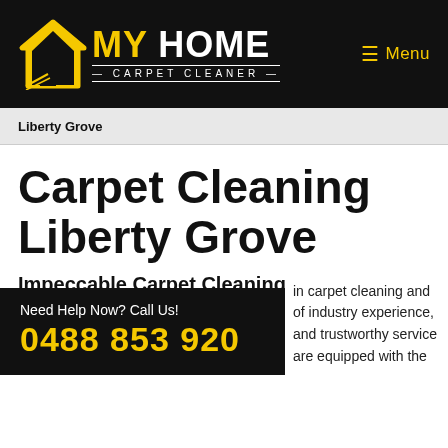[Figure (logo): My Home Carpet Cleaner logo with house icon in yellow and white text on black background, with Menu button top right]
Liberty Grove
Carpet Cleaning Liberty Grove
Impeccable Carpet Cleaning at Lowest Prices
My Home Carpet Cleaner is a renowned name in Liberty Grove, known for delivering excellence in carpet cleaning and of industry experience, and trustworthy service are equipped with the
Need Help Now? Call Us!
0488 853 920